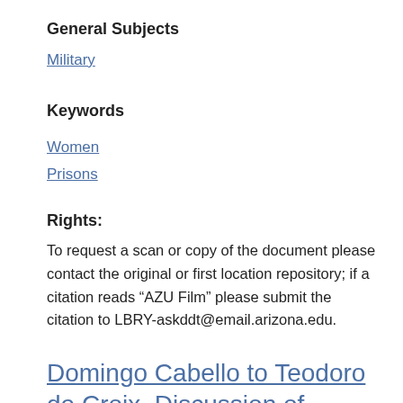General Subjects
Military
Keywords
Women
Prisons
Rights:
To request a scan or copy of the document please contact the original or first location repository; if a citation reads “AZU Film” please submit the citation to LBRY-askddt@email.arizona.edu.
Domingo Cabello to Teodoro de Croix. Discussion of prisoners